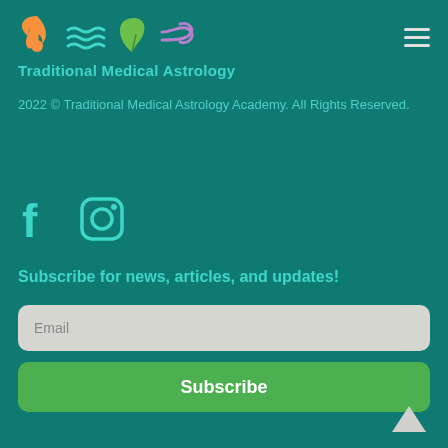[Figure (logo): Traditional Medical Astrology logo with four elemental icons: flame (orange), water waves (cyan), leaf (green), wind (purple)]
Traditional Medical Astrology
2022 © Traditional Medical Astrology Academy. All Rights Reserved.
[Figure (illustration): Social media icons: Facebook (f) and Instagram (camera) in teal/cyan color]
Subscribe for news, articles, and updates!
Email
Subscribe